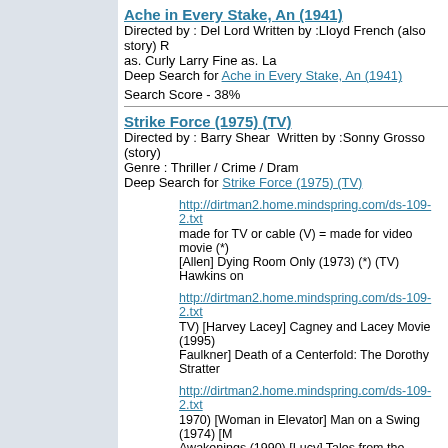Ache in Every Stake, An (1941)
Directed by : Del Lord Written by :Lloyd Lloyd French (also story) R as. Curly Larry Fine as. La
Deep Search for Ache in Every Stake, An (1941)
Search Score - 38%
Strike Force (1975) (TV)
Directed by : Barry Shear  Written by :Sonny Grosso  (story)
Genre : Thriller / Crime / Dram
Deep Search for Strike Force (1975) (TV)
http://dirtman2.home.mindspring.com/ds-109-2.txt
made for TV or cable (V) = made for video movie (*) [Allen] Dying Room Only (1973) (*) (TV) Hawkins on
http://dirtman2.home.mindspring.com/ds-109-2.txt
TV) [Harvey Lacey] Cagney and Lacey Movie (1995) Faulkner] Death of a Centerfold: The Dorothy Stratter
http://dirtman2.home.mindspring.com/ds-109-2.txt
1970) [Woman in Elevator] Man on a Swing (1974) [M Awakenings (1990) [Lucy] Tales from the Darkside: T
http://www.getty.net/texts/tv-67-83.txt
Yo 8:30 Mr. T and Tina 9:00 Starsky and Hutch 9:30 Saturday Night 1976 8:00 Emergency 8:30 9:00 NBC
http://www.getty.net/texts/tv-67-83.txt
30 Wednesday Movie of the Week 9:00 9:30 10:00 G Wednesday Night 1974 8:00 Little House on the Prai
EDS Names Rick Rosenburg to Lead Efforts for U.S.